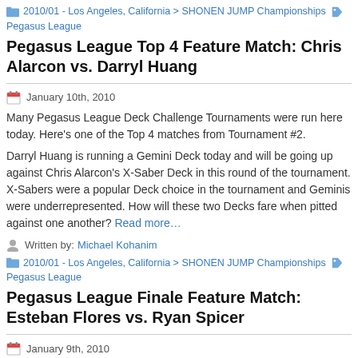2010/01 - Los Angeles, California > SHONEN JUMP Championships  Pegasus League
Pegasus League Top 4 Feature Match: Chris Alarcon vs. Darryl Huang
January 10th, 2010
Many Pegasus League Deck Challenge Tournaments were run here today. Here's one of the Top 4 matches from Tournament #2.
Darryl Huang is running a Gemini Deck today and will be going up against Chris Alarcon's X-Saber Deck in this round of the tournament. X-Sabers were a popular Deck choice in the tournament and Geminis were underrepresented. How will these two Decks fare when pitted against one another? Read more…
Written by: Michael Kohanim
2010/01 - Los Angeles, California > SHONEN JUMP Championships  Pegasus League
Pegasus League Finale Feature Match: Esteban Flores vs. Ryan Spicer
January 9th, 2010
In today's Pegasus League Deck Challenge, Esteban Flores is undefeated with his Gemini Deck, while his opponent Ryan Spicer is playing Blackwings with "Ryko, Lightsworn Hunter" and "The Dark Creator." Both Decks bring unique strengths to the table and played clean through the elimination rounds